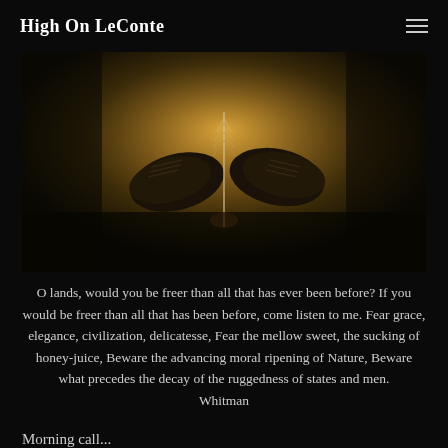High On LeConte
[Figure (photo): Dark atmospheric photo showing a person's feet/shoes from above, holding what appears to be a feather or thin stick, with warm amber/golden background lighting]
O lands, would you be freer than all that has ever been before? If you would be freer than all that has been before, come listen to me. Fear grace, elegance, civilization, delicatesse, Fear the mellow sweet, the sucking of honey-juice, Beware the advancing moral ripening of Nature, Beware what precedes the decay of the ruggedness of states and men. Whitman
Morning call...